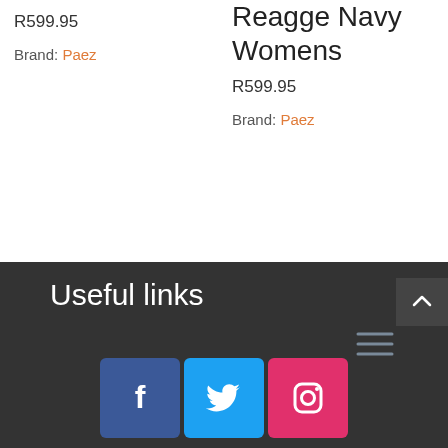R599.95
Brand: Paez
Reagge Navy Womens
R599.95
Brand: Paez
Useful links
[Figure (other): Social media icons: Facebook, Twitter, Instagram]